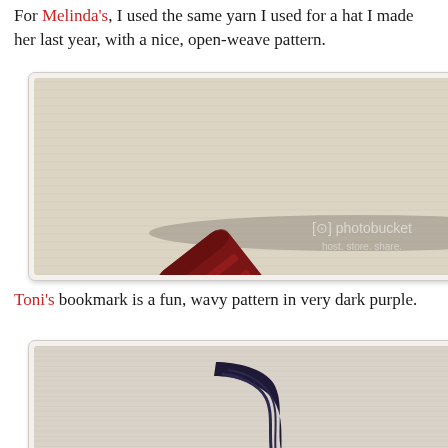For Melinda's, I used the same yarn I used for a hat I made her last year, with a nice, open-weave pattern.
[Figure (photo): Photo of a dark red/burgundy crocheted bookmark with open-weave pattern and tassel fringe at one end, laid on a light fabric background. Photobucket watermark visible.]
Toni's bookmark is a fun, wavy pattern in very dark purple.
[Figure (photo): Photo of a very dark purple/navy crocheted bookmark with wavy pattern and tassel fringe, laid on a light striped fabric background. Photobucket watermark visible.]